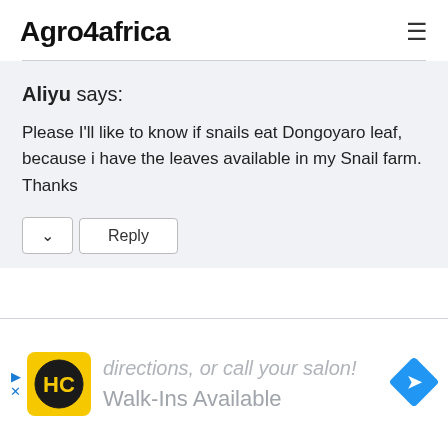Agro4africa
Aliyu says:
Please I'll like to know if snails eat Dongoyaro leaf, because i have the leaves available in my Snail farm. Thanks
Reply
[Figure (screenshot): Advertisement banner showing HC logo, 'directions, or call your salon!' text, 'Walk-Ins Available' text, and a blue navigation arrow icon]